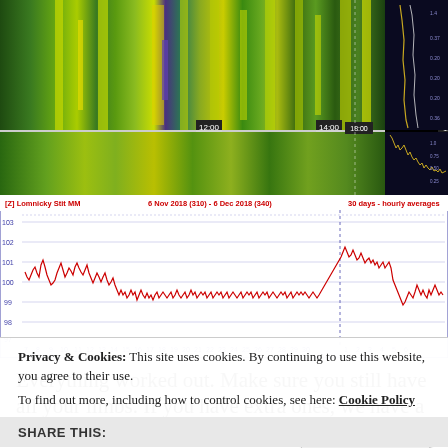[Figure (other): Spectrogram/waterfall display showing radio frequency or seismic data over time, with colorful bands (green, yellow, purple, blue) and a right-side panel with a dark background showing amplitude curves. Time labels visible: 12:00, 14:00, 18:00, 19:00.]
[Figure (continuous-plot): Line chart labeled '[Z] Lomnicky Stit MM  6 Nov 2018 (310) - 6 Dec 2018 (340)  30 days - hourly averages'. Red continuous line plotted on blue grid, Y-axis values from 98 to 103, X-axis shows day numbers 7 through 30 then 1 through 6. Dashed vertical line near day 30/1 boundary.]
Everything worked out. Make sure you still have all your limbs. If you have extra ones, we have a job for you.
Privacy & Cookies: This site uses cookies. By continuing to use this website, you agree to their use.
To find out more, including how to control cookies, see here: Cookie Policy
SHARE THIS: